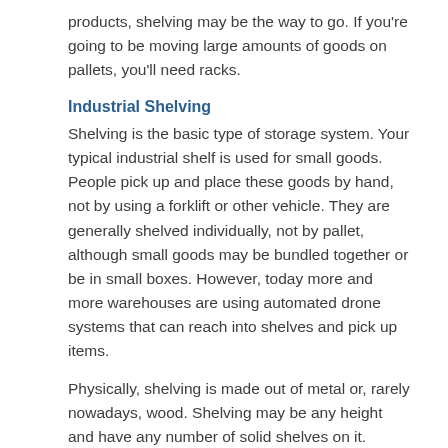products, shelving may be the way to go. If you're going to be moving large amounts of goods on pallets, you'll need racks.
Industrial Shelving
Shelving is the basic type of storage system. Your typical industrial shelf is used for small goods. People pick up and place these goods by hand, not by using a forklift or other vehicle. They are generally shelved individually, not by pallet, although small goods may be bundled together or be in small boxes. However, today more and more warehouses are using automated drone systems that can reach into shelves and pick up items.
Physically, shelving is made out of metal or, rarely nowadays, wood. Shelving may be any height and have any number of solid shelves on it. These shelves usually are made out of a solid piece of metal or wood